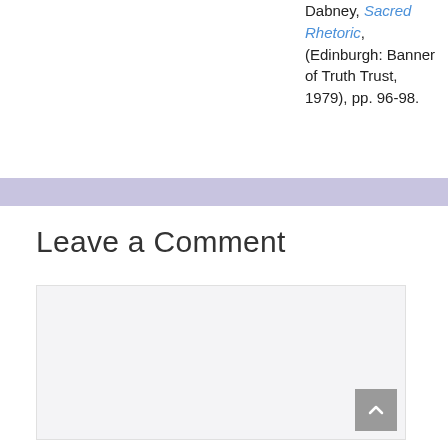Dabney, Sacred Rhetoric, (Edinburgh: Banner of Truth Trust, 1979), pp. 96-98.
Leave a Comment